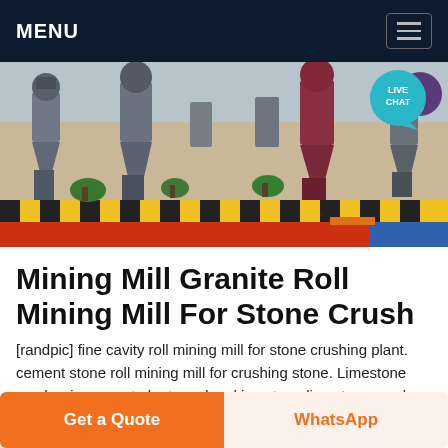MENU
[Figure (photo): Industrial mining mill machinery with cone crushers and industrial equipment on a factory floor, yellow/black hazard striping visible, colorful equipment in red, blue, gray tones. LIVE CHAT bubble overlay in teal at top right.]
Mining Mill Granite Roll Mining Mill For Stone Crush
[randpic] fine cavity roll mining mill for stone crushing plant. cement stone roll mining mill for crushing stone. Limestone crusher in cement plant sand making stone limestone crusher in cement plant sand making stone quarry cement production line or cement plant is a series of cement